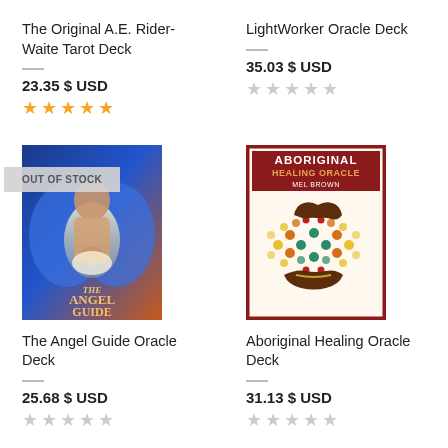The Original A.E. Rider-Waite Tarot Deck
23.35 $ USD
★★★★★
LightWorker Oracle Deck
35.03 $ USD
★★★★★ (empty)
[Figure (illustration): The Angel Guide Oracle Deck book cover with angel imagery, blue and orange tones, with OUT OF STOCK badge overlay]
The Angel Guide Oracle Deck
25.68 $ USD
[Figure (illustration): Aboriginal Healing Oracle Deck book cover with dark red border, decorative dot art with hands, by Mel Brown]
Aboriginal Healing Oracle Deck
31.13 $ USD